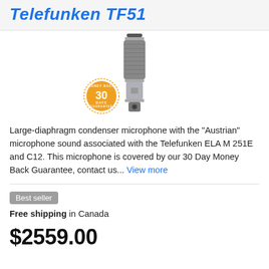Telefunken TF51
[Figure (photo): Telefunken TF51 large-diaphragm condenser microphone standing upright, with a 30 Day Money Back Guarantee badge overlaid in the lower left area of the product image.]
Large-diaphragm condenser microphone with the "Austrian" microphone sound associated with the Telefunken ELA M 251E and C12. This microphone is covered by our 30 Day Money Back Guarantee, contact us... View more
Best seller
Free shipping in Canada
$2559.00